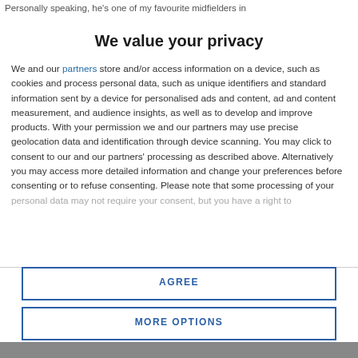Personally speaking, he's one of my favourite midfielders in
We value your privacy
We and our partners store and/or access information on a device, such as cookies and process personal data, such as unique identifiers and standard information sent by a device for personalised ads and content, ad and content measurement, and audience insights, as well as to develop and improve products. With your permission we and our partners may use precise geolocation data and identification through device scanning. You may click to consent to our and our partners' processing as described above. Alternatively you may access more detailed information and change your preferences before consenting or to refuse consenting. Please note that some processing of your personal data may not require your consent, but you have a right to
AGREE
MORE OPTIONS